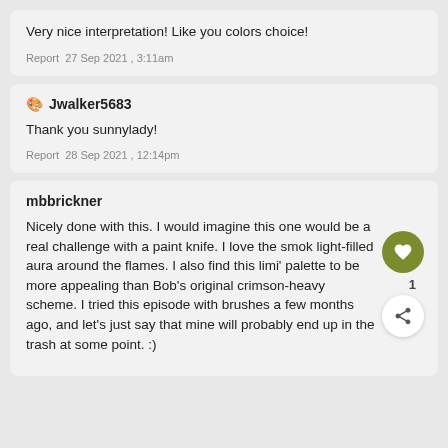Very nice interpretation! Like you colors choice!
Report · 27 Sep 2021 , 3:11am
Jwalker5683
Thank you sunnylady!
Report · 28 Sep 2021 , 12:14pm
mbbrickner
Nicely done with this. I would imagine this one would be a real challenge with a paint knife. I love the smoky light-filled aura around the flames. I also find this limi' palette to be more appealing than Bob's original crimson-heavy scheme. I tried this episode with brushes a few months ago, and let's just say that mine will probably end up in the trash at some point. :)